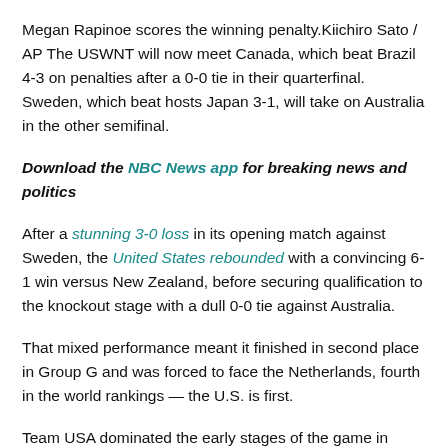Megan Rapinoe scores the winning penalty.Kiichiro Sato / AP The USWNT will now meet Canada, which beat Brazil 4-3 on penalties after a 0-0 tie in their quarterfinal. Sweden, which beat hosts Japan 3-1, will take on Australia in the other semifinal.
Download the NBC News app for breaking news and politics
After a stunning 3-0 loss in its opening match against Sweden, the United States rebounded with a convincing 6-1 win versus New Zealand, before securing qualification to the knockout stage with a dull 0-0 tie against Australia.
That mixed performance meant it finished in second place in Group G and was forced to face the Netherlands, fourth in the world rankings — the U.S. is first.
Team USA dominated the early stages of the game in Yokohama,